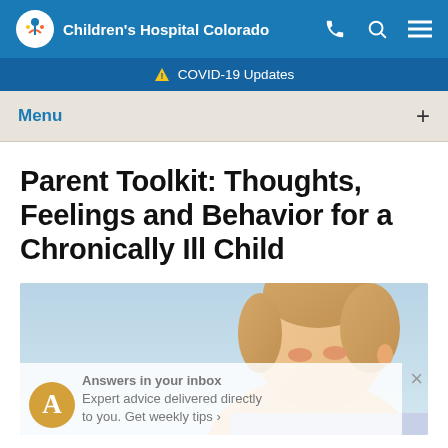Children's Hospital Colorado
COVID-19 Updates
Menu
Parent Toolkit: Thoughts, Feelings and Behavior for a Chronically Ill Child
[Figure (photo): A woman with blonde hair up in a bun, looking downward, against a light blue background. An email subscription overlay at the bottom reads: Answers in your inbox Expert advice delivered directly to you. Get weekly tips...]
Answers in your inbox Expert advice delivered directly to you. Get weekly tips...